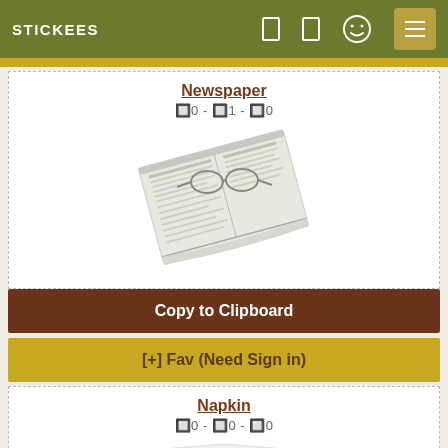STICKEES
Newspaper
🔲0 - 🔲1 - 🔲0
[Figure (illustration): Illustration of a folded newspaper with eyeglasses resting on top]
Copy to Clipboard
[+] Fav (Need Sign in)
Napkin
🔲0 - 🔲0 - 🔲0
[Figure (illustration): Illustration of a white folded napkin]